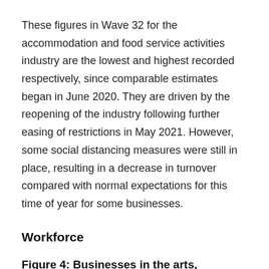These figures in Wave 32 for the accommodation and food service activities industry are the lowest and highest recorded respectively, since comparable estimates began in June 2020. They are driven by the reopening of the industry following further easing of restrictions in May 2021. However, some social distancing measures were still in place, resulting in a decrease in turnover compared with normal expectations for this time of year for some businesses.
Workforce
Figure 4: Businesses in the arts, entertainment and recreation industry had the highest proportion of the lowest for...